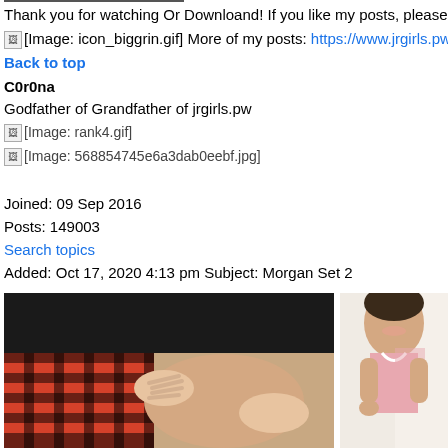Thank you for watching Or Downloand! If you like my posts, please s
[Image: icon_biggrin.gif] More of my posts: https://www.jrgirls.pw/s
Back to top
C0r0na
Godfather of Grandfather of jrgirls.pw
[Image: rank4.gif]
[Image: 568854745e6a3dab0eebf.jpg]
Joined: 09 Sep 2016
Posts: 149003
Search topics
Added: Oct 17, 2020 4:13 pm Subject: Morgan Set 2
[Figure (photo): Photo showing plaid shorts and torso]
[Figure (photo): Photo showing person smiling]